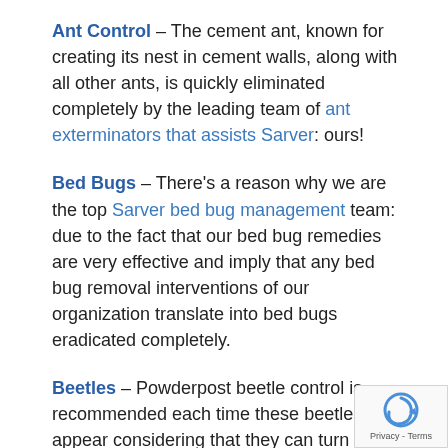Ant Control – The cement ant, known for creating its nest in cement walls, along with all other ants, is quickly eliminated completely by the leading team of ant exterminators that assists Sarver: ours!
Bed Bugs – There's a reason why we are the top Sarver bed bug management team: due to the fact that our bed bug remedies are very effective and imply that any bed bug removal interventions of our organization translate into bed bugs eradicated completely.
Beetles – Powderpost beetle control is recommended each time these beetles appear considering that they can turn wood into powder. Literally. The good news is, we are superior at achieving optimal beetle control results. At all